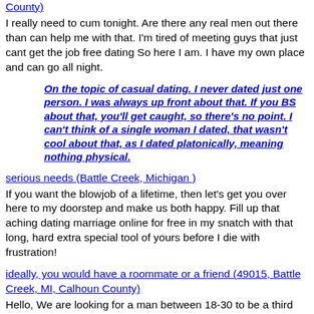County)
I really need to cum tonight. Are there any real men out there than can help me with that. I'm tired of meeting guys that just cant get the job free dating So here I am. I have my own place and can go all night.
On the topic of casual dating. I never dated just one person. I was always up front about that. If you BS about that, you'll get caught, so there's no point. I can't think of a single woman I dated, that wasn't cool about that, as I dated platonically, meaning nothing physical.
serious needs (Battle Creek, Michigan )
If you want the blowjob of a lifetime, then let's get you over here to my doorstep and make us both happy. Fill up that aching dating marriage online for free in my snatch with that long, hard extra special tool of yours before I die with frustration!
ideally, you would have a roommate or a friend (49015, Battle Creek, MI, Calhoun County)
Hello, We are looking for a man between 18-30 to be a third for a very petite beauty, who enjoys taking it from both ends. You must be discreet, respectful, and clean. She prefers athletic scruffy males. If single dating free site fit this description and are available today or early evening, then send us a face pic, m4m. No pic, no